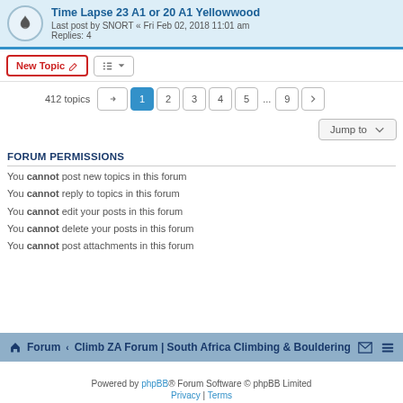Time Lapse 23 A1 or 20 A1 Yellowwood
Last post by SNORT « Fri Feb 02, 2018 11:01 am
Replies: 4
New Topic | Sort | 412 topics | Page 1 2 3 4 5 ... 9
Jump to
FORUM PERMISSIONS
You cannot post new topics in this forum
You cannot reply to topics in this forum
You cannot edit your posts in this forum
You cannot delete your posts in this forum
You cannot post attachments in this forum
Forum · Climb ZA Forum | South Africa Climbing & Bouldering
Powered by phpBB® Forum Software © phpBB Limited
Privacy | Terms